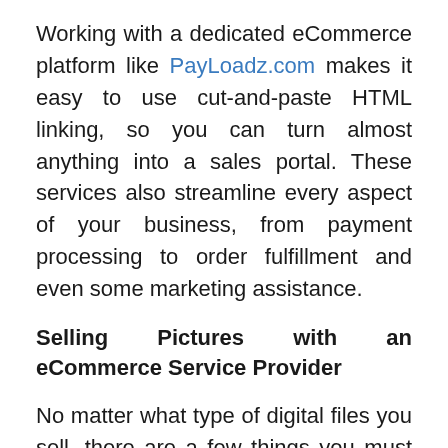Working with a dedicated eCommerce platform like PayLoadz.com makes it easy to use cut-and-paste HTML linking, so you can turn almost anything into a sales portal. These services also streamline every aspect of your business, from payment processing to order fulfillment and even some marketing assistance.
Selling Pictures with an eCommerce Service Provider
No matter what type of digital files you sell, there are a few things you must be able to either provide for your customers or access yourself as an online business owner. Your customers must feel safe paying for their purchases, so a recognized and trustworthy name like PayPal or Google Wallet is a must. Since digital